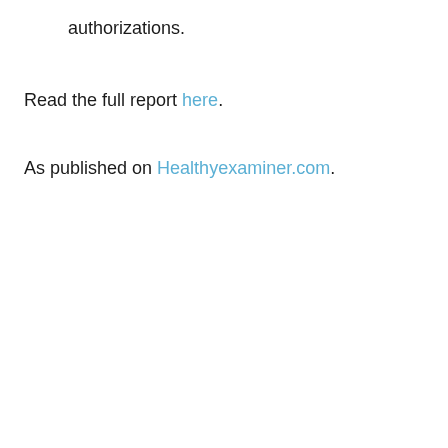authorizations.
Read the full report here.
As published on Healthyexaminer.com.